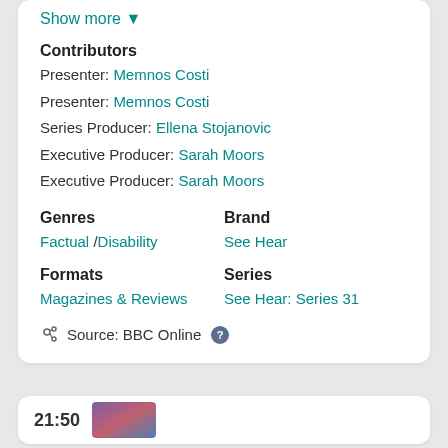Show more ▼
Contributors
Presenter: Memnos Costi
Presenter: Memnos Costi
Series Producer: Ellena Stojanovic
Executive Producer: Sarah Moors
Executive Producer: Sarah Moors
Genres
Factual / Disability
Brand
See Hear
Formats
Magazines & Reviews
Series
See Hear: Series 31
Source: BBC Online ?